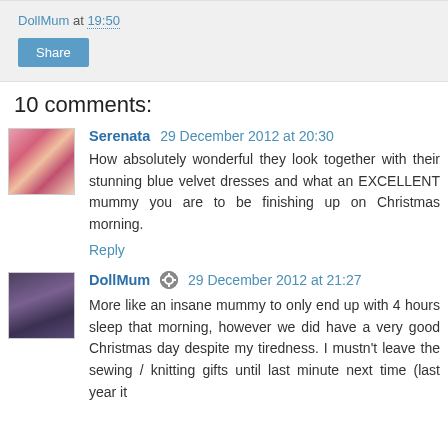DollMum at 19:50
Share
10 comments:
Serenata  29 December 2012 at 20:30
How absolutely wonderful they look together with their stunning blue velvet dresses and what an EXCELLENT mummy you are to be finishing up on Christmas morning.
Reply
DollMum  29 December 2012 at 21:27
More like an insane mummy to only end up with 4 hours sleep that morning, however we did have a very good Christmas day despite my tiredness. I mustn't leave the sewing / knitting gifts until last minute next time (last year it